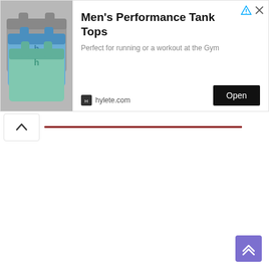[Figure (screenshot): Advertisement banner showing stacked men's performance tank tops (gray, blue, teal colors) with text 'Men's Performance Tank Tops', subtitle 'Perfect for running or a workout at the Gym', hylete.com branding, and an Open button. Below the ad is a browser toolbar with an up-arrow button and a red progress/search bar. Bottom right has a purple scroll-to-top button.]